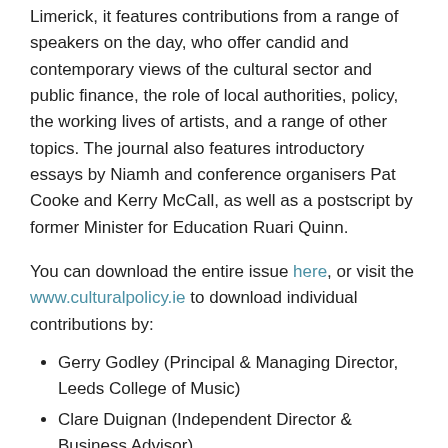Limerick, it features contributions from a range of speakers on the day, who offer candid and contemporary views of the cultural sector and public finance, the role of local authorities, policy, the working lives of artists, and a range of other topics. The journal also features introductory essays by Niamh and conference organisers Pat Cooke and Kerry McCall, as well as a postscript by former Minister for Education Ruari Quinn.
You can download the entire issue here, or visit the www.culturalpolicy.ie to download individual contributions by:
Gerry Godley (Principal & Managing Director, Leeds College of Music)
Clare Duignan (Independent Director & Business Advisor)
Peter Hynes (Chief Executive, Mayo County Council)
Alan Counihan (Artist)
Mary Carty (Entrepreneur, Arts Consultant, Author)